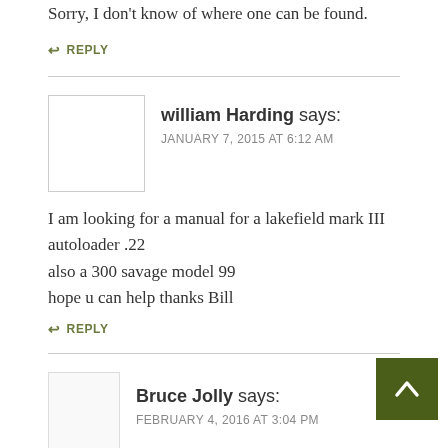Sorry, I don't know of where one can be found.
↩ REPLY
william Harding says:
JANUARY 7, 2015 AT 6:12 AM
I am looking for a manual for a lakefield mark III autoloader .22
also a 300 savage model 99
hope u can help thanks Bill
↩ REPLY
Bruce Jolly says:
FEBRUARY 4, 2016 AT 3:04 PM
William, did you ever find your Lakefield MK-III & 300 Savage